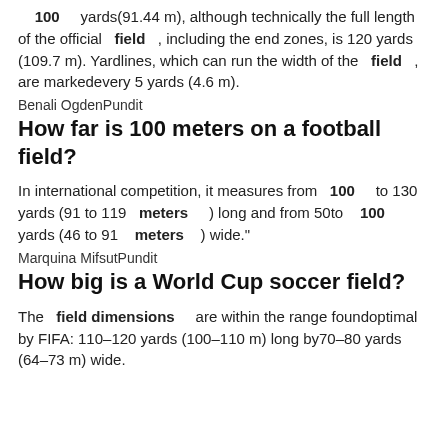100 yards(91.44 m), although technically the full length of the official field , including the end zones, is 120 yards (109.7 m). Yardlines, which can run the width of the field , are markedevery 5 yards (4.6 m).
Benali OgdenPundit
How far is 100 meters on a football field?
In international competition, it measures from 100 to 130 yards (91 to 119 meters ) long and from 50to 100 yards (46 to 91 meters ) wide."
Marquina MifsutPundit
How big is a World Cup soccer field?
The field dimensions are within the range foundoptimal by FIFA: 110–120 yards (100–110 m) long by70–80 yards (64–73 m) wide.